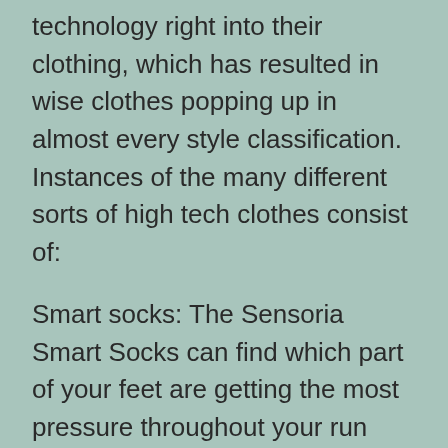technology right into their clothing, which has resulted in wise clothes popping up in almost every style classification. Instances of the many different sorts of high tech clothes consist of:
Smart socks: The Sensoria Smart Socks can find which part of your feet are getting the most pressure throughout your run and also can send this information to a smart device application.
Smart footwear: Pizza Hut has trying out limited-edition smart footwear that can get